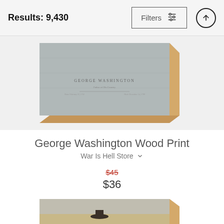Results: 9,430
[Figure (screenshot): George Washington Wood Print product image — a rectangular wood print with angled perspective showing a George Washington historical image printed on wood with natural wood edges]
George Washington Wood Print
War Is Hell Store
$45  $36